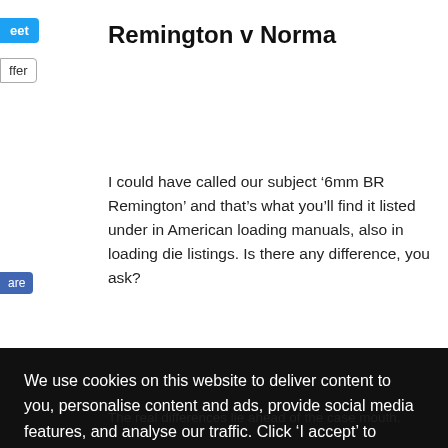Remington v Norma
I could have called our subject ‘6mm BR Remington’ and that’s what you’ll find it listed under in American loading manuals, also in loading die listings. Is there any difference, you ask?
We use cookies on this website to deliver content to you, personalise content and ads, provide social media features, and analyse our traffic. Click ‘I accept’ to consent to the use of cookies. More information on cookies and how to manage them click here
I Accept
The real differences lie ahead of the case mouth.